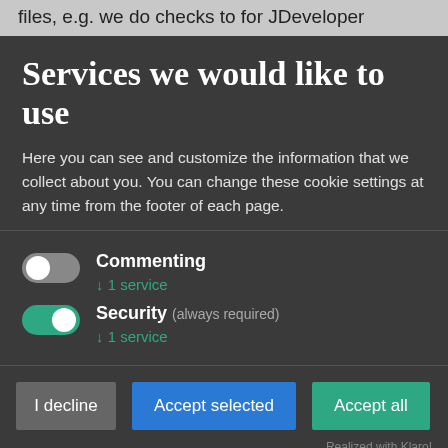files, e.g. we do checks to for JDeveloper
Services we would like to use
Here you can see and customize the information that we collect about you. You can change these cookie settings at any time from the footer of each page.
[Figure (other): Toggle switch in OFF state for Commenting service]
Commenting
↓ 1 service
[Figure (other): Toggle switch in ON state for Security service]
Security (always required)
↓ 1 service
I decline
Accept selected
Accept all
Realized with Klaro!